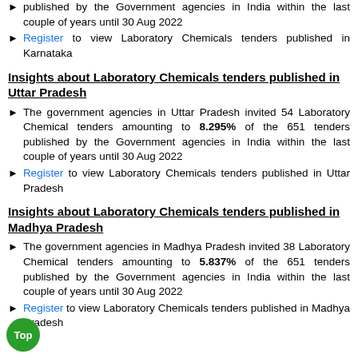published by the Government agencies in India within the last couple of years until 30 Aug 2022
Register to view Laboratory Chemicals tenders published in Karnataka
Insights about Laboratory Chemicals tenders published in Uttar Pradesh
The government agencies in Uttar Pradesh invited 54 Laboratory Chemical tenders amounting to 8.295% of the 651 tenders published by the Government agencies in India within the last couple of years until 30 Aug 2022
Register to view Laboratory Chemicals tenders published in Uttar Pradesh
Insights about Laboratory Chemicals tenders published in Madhya Pradesh
The government agencies in Madhya Pradesh invited 38 Laboratory Chemical tenders amounting to 5.837% of the 651 tenders published by the Government agencies in India within the last couple of years until 30 Aug 2022
Register to view Laboratory Chemicals tenders published in Madhya Pradesh